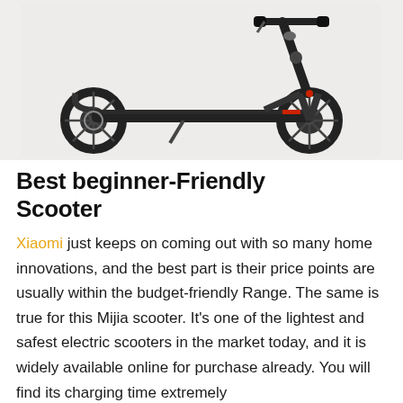[Figure (photo): A black Xiaomi Mijia electric scooter shown from the side against a light beige/grey background. The scooter has two wheels, a folding stem, and a flat deck.]
Best beginner-Friendly Scooter
Xiaomi just keeps on coming out with so many home innovations, and the best part is their price points are usually within the budget-friendly Range. The same is true for this Mijia scooter. It's one of the lightest and safest electric scooters in the market today, and it is widely available online for purchase already. You will find its charging time extremely